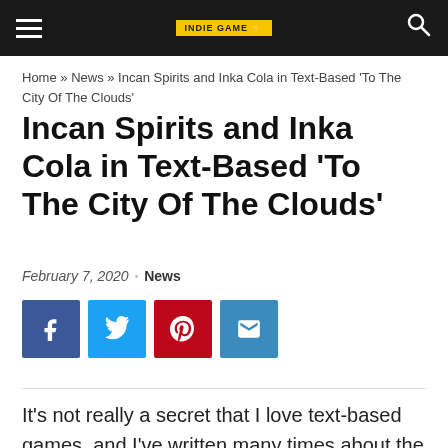Indie Game Reviewer — navigation bar with hamburger menu, logo, and search icon
Home » News » Incan Spirits and Inka Cola in Text-Based 'To The City Of The Clouds'
Incan Spirits and Inka Cola in Text-Based 'To The City Of The Clouds'
February 7, 2020  · News
[Figure (other): Social share buttons: Facebook (blue), Twitter (light blue), Pinterest (red), Email (blue)]
It's not really a secret that I love text-based games, and I've written many times about the